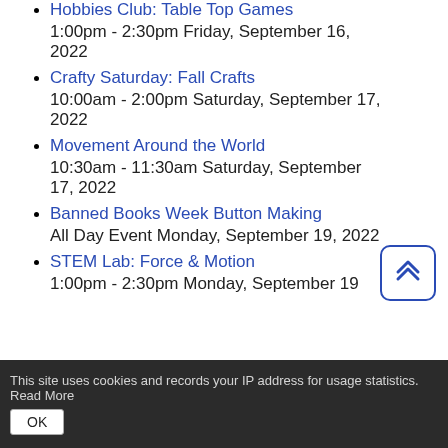Hobbies Club: Table Top Games
1:00pm - 2:30pm Friday, September 16, 2022
Crafty Saturday: Fall Crafts
10:00am - 2:00pm Saturday, September 17, 2022
Movement Around the World
10:30am - 11:30am Saturday, September 17, 2022
Banned Books Week Button Making
All Day Event Monday, September 19, 2022
STEM Lab: Force & Motion
1:00pm - 2:30pm Monday, September 19
This site uses cookies and records your IP address for usage statistics. Read More